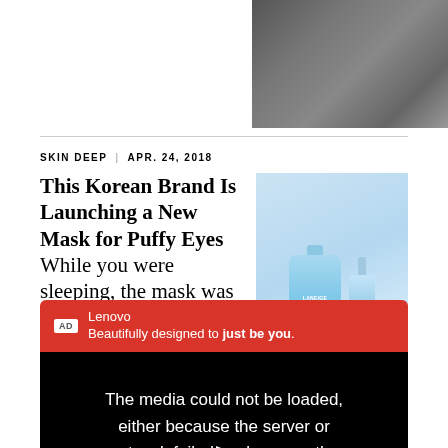[Figure (photo): Person in dark clothing carrying a bag, partial view, top-right corner]
SKIN DEEP | APR. 24, 2018
This Korean Brand Is Launching a New Mask for Puffy Eyes While you were sleeping, the mask was de-puffing.
[Figure (photo): Two blue Laneige skincare product bottles on white/transparent background]
AD Lenovo Beautifully designed to just be you.
The media could not be loaded, either because the server or network failed because the